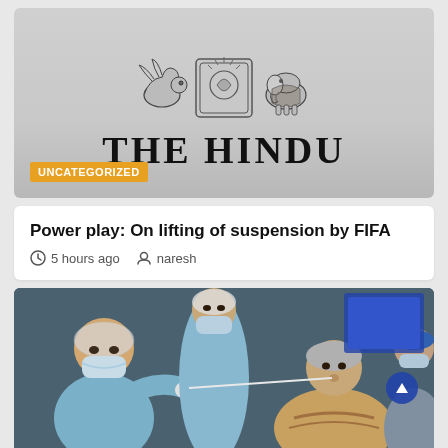[Figure (logo): The Hindu newspaper logo with emblem featuring winged lion, central crest, and elephant, above the text THE HINDU]
UNCATEGORIZED
Power play: On lifting of suspension by FIFA
5 hours ago  naresh
[Figure (photo): Medical workers in blue PPE gowns, hair nets, and masks conducting a nasal swab test on an elderly woman in a clinical setting]